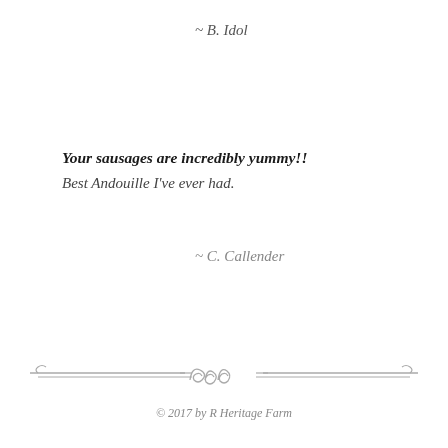~ B. Idol
Your sausages are incredibly yummy!! Best Andouille I've ever had.
~ C. Callender
[Figure (illustration): Decorative horizontal divider with ornamental scroll design in center, lines extending to both sides]
© 2017 by R Heritage Farm